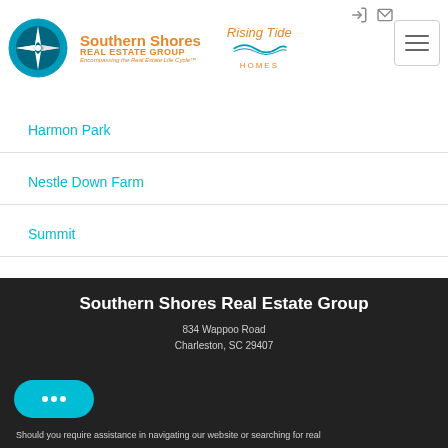[Figure (logo): Southern Shores Real Estate Group logo with compass rose and Rising Tide Homes logo]
Harmon Park
Nestle Down Farm
Summit
Southern Shores Real Estate Group
834 Wappoo Road
Charleston, SC 29407
843-367-8114
Should you require assistance in navigating our website or searching for real